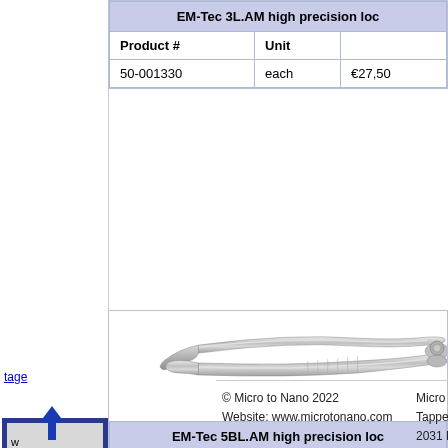| EM-Tec 3L.AM high precision loc |  |  |
| --- | --- | --- |
| Product # | Unit |  |
| 50-001330 | each | €27,50 |
[Figure (photo): Photo of EM-Tec 5BL.AM high precision locking tweezers, curved tip, metallic finish]
| EM-Tec 5BL.AM high precision loc |  |  |
| --- | --- | --- |
| Product # | Unit |  |
| 50-001355 | each | €31,50 |
© Micro to Nano 2022
Website: www.microtonano.com
Micro to Nano
Tappersweg 91
2031 ET Haarlem
Netherlands